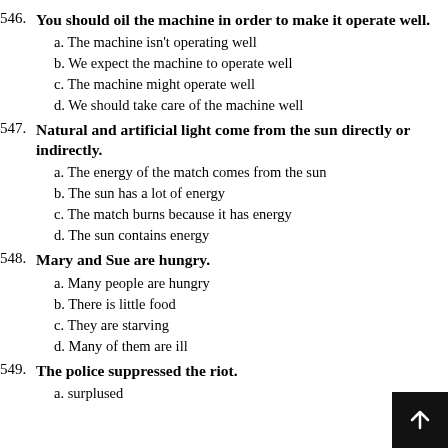546. You should oil the machine in order to make it operate well.
a. The machine isn't operating well
b. We expect the machine to operate well
c. The machine might operate well
d. We should take care of the machine well
547. Natural and artificial light come from the sun directly or indirectly.
a. The energy of the match comes from the sun
b. The sun has a lot of energy
c. The match burns because it has energy
d. The sun contains energy
548. Mary and Sue are hungry.
a. Many people are hungry
b. There is little food
c. They are starving
d. Many of them are ill
549. The police suppressed the riot.
a. surplused